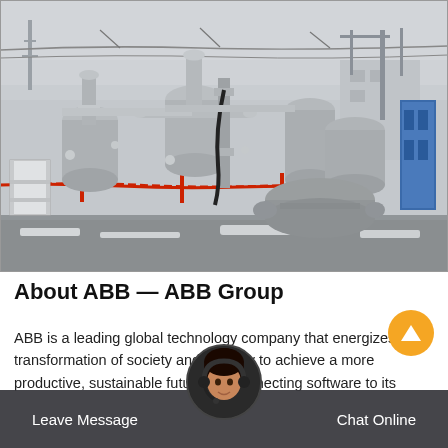[Figure (photo): Outdoor industrial electrical substation with large grey gas-insulated switchgear (GIS) equipment, pipes and cylindrical tanks, overhead cable lines, and a red safety barrier. Snow visible on the ground. Blue panels visible on the right side.]
About ABB — ABB Group
ABB is a leading global technology company that energizes transformation of society and industry to achieve a more productive, sustainable future. By connecting software to its
Leave Message   Chat Online